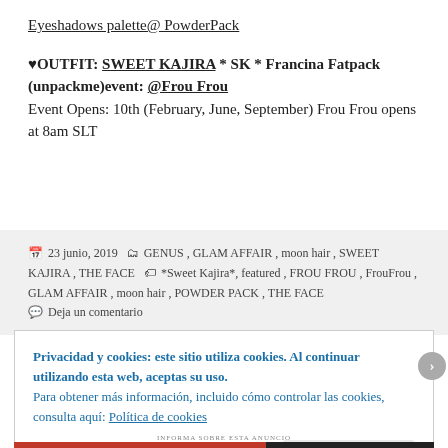Eyeshadows palette@ PowderPack
♥OUTFIT: SWEET KAJIRA * SK * Francina Fatpack (unpackme)event: @Frou Frou
Event Opens: 10th (February, June, September) Frou Frou opens at 8am SLT
23 junio, 2019   GENUS, GLAM AFFAIR, moon hair, SWEET KAJIRA, THE FACE   *Sweet Kajira*, featured, FROU FROU, FrouFrou, GLAM AFFAIR, moon hair, POWDER PACK, THE FACE   Deja un comentario
Privacidad y cookies: este sitio utiliza cookies. Al continuar utilizando esta web, aceptas su uso.
Para obtener más información, incluido cómo controlar las cookies, consulta aquí: Política de cookies
Cerrar y aceptar